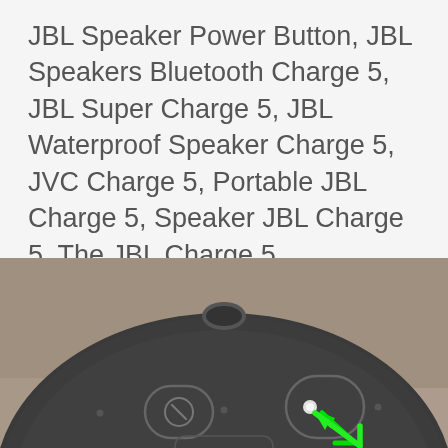JBL Speaker Power Button, JBL Speakers Bluetooth Charge 5, JBL Super Charge 5, JBL Waterproof Speaker Charge 5, JVC Charge 5, Portable JBL Charge 5, Speaker JBL Charge 5, The JBL Charge 5
[Figure (photo): Top-down view of a dark gray JBL Charge 5 speaker showing buttons on top surface. A green arrow annotation points to one of the circular buttons (power button) on the right side.]